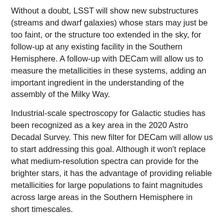Without a doubt, LSST will show new substructures (streams and dwarf galaxies) whose stars may just be too faint, or the structure too extended in the sky, for follow-up at any existing facility in the Southern Hemisphere. A follow-up with DECam will allow us to measure the metallicities in these systems, adding an important ingredient in the understanding of the assembly of the Milky Way.
Industrial-scale spectroscopy for Galactic studies has been recognized as a key area in the 2020 Astro Decadal Survey. This new filter for DECam will allow us to start addressing this goal. Although it won't replace what medium-resolution spectra can provide for the brighter stars, it has the advantage of providing reliable metallicities for large populations to faint magnitudes across large areas in the Southern Hemisphere in short timescales.
As an example of the capability, the DECam ETC estimates that for 1.2 arcsec images, in dark time, we can go as deep as u(AB) = 22.0 in 600 sec with S/N ~ 25. This depth is good to characterize metallicities of turnoff stars up to ~40 kpc. If we use red giants and/or HB stars, we can obtain metallicities of substructures at distances greater than 150 kpc. The whole Dark Energy Survey (DES) area of 5000